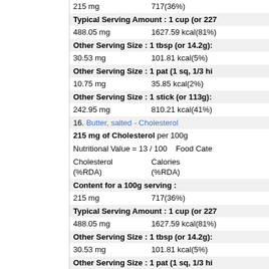215 mg    717(36%)
Typical Serving Amount : 1 cup (or 227...
488.05 mg    1627.59 kcal(81%)
Other Serving Size : 1 tbsp (or 14.2g):
30.53 mg    101.81 kcal(5%)
Other Serving Size : 1 pat (1 sq, 1/3 hi...
10.75 mg    35.85 kcal(2%)
Other Serving Size : 1 stick (or 113g):
242.95 mg    810.21 kcal(41%)
16. Butter, salted - Cholesterol
215 mg of Cholesterol per 100g
Nutritional Value = 13 / 100    Food Cate...
Cholesterol (%RDA)    Calories (%RDA)
Content for a 100g serving :
215 mg    717(36%)
Typical Serving Amount : 1 cup (or 227...
488.05 mg    1627.59 kcal(81%)
Other Serving Size : 1 tbsp (or 14.2g):
30.53 mg    101.81 kcal(5%)
Other Serving Size : 1 pat (1 sq, 1/3 hi...
10.75 mg    35.85 kcal(2%)
Other Serving Size : 1 stick (or 113g):
242.95 mg    810.21 kcal(41%)
17. Cream, fluid, heavy whipping - Chole...
137 mg of Cholesterol per 100g